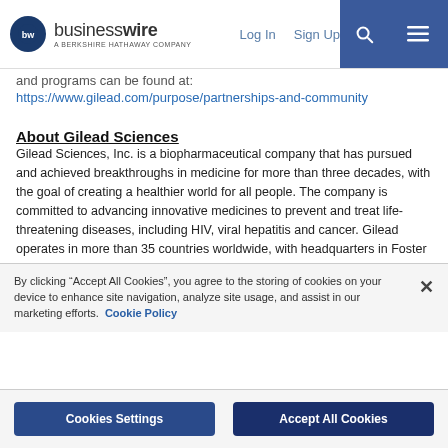businesswire — A BERKSHIRE HATHAWAY COMPANY | Log In | Sign Up
and programs can be found at:
https://www.gilead.com/purpose/partnerships-and-community
About Gilead Sciences
Gilead Sciences, Inc. is a biopharmaceutical company that has pursued and achieved breakthroughs in medicine for more than three decades, with the goal of creating a healthier world for all people. The company is committed to advancing innovative medicines to prevent and treat life-threatening diseases, including HIV, viral hepatitis and cancer. Gilead operates in more than 35 countries worldwide, with headquarters in Foster City, California.
By clicking “Accept All Cookies”, you agree to the storing of cookies on your device to enhance site navigation, analyze site usage, and assist in our marketing efforts. Cookie Policy
Cookies Settings | Accept All Cookies